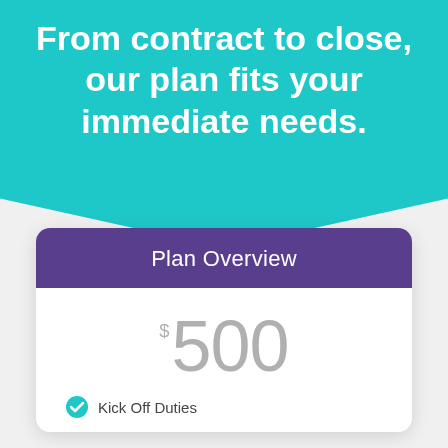From contract to close, our plan fits your immediate needs.
Plan Overview
$500
Kick Off Duties